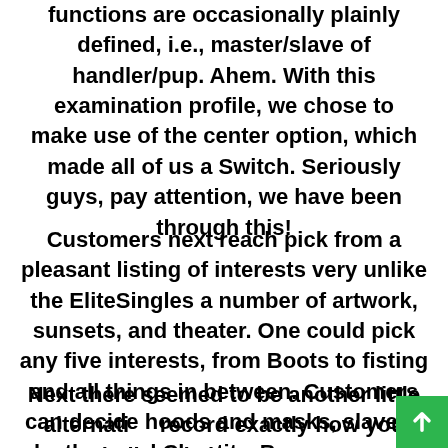functions are occasionally plainly defined, i.e., master/slave of handler/pup. Ahem. With this examination profile, we chose to make use of the center option, which made all of us a Switch. Seriously guys, pay attention, we have been through this!
Customers next reach pick from a pleasant listing of interests very unlike the EliteSingles a number of artwork, sunsets, and theater. One could pick any five interests, from Boots to fisting and all things in between. Customers can decide hoods and masks, slavery, leather, and Chastity. Because many people on this web site are only very chaste.
Next there seemed to be another little alternative record exactly how you believed about secu